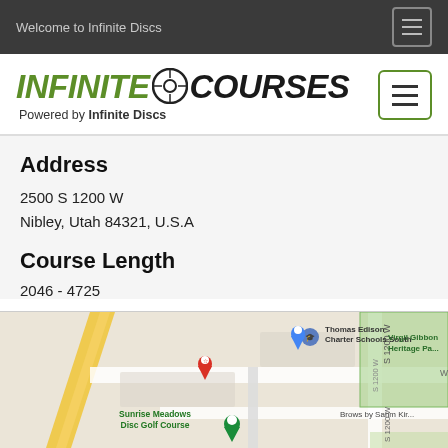Welcome to Infinite Discs
[Figure (logo): Infinite Courses logo — INFINITE COURSES in bold italic green and black with a disc icon, Powered by Infinite Discs subtitle]
Address
2500 S 1200 W
Nibley, Utah 84321, U.S.A
Course Length
2046 - 4725
[Figure (map): Google Maps screenshot showing Sunrise Meadows Disc Golf Course at 2500 S 1200 W, Nibley Utah, with map pins and nearby labels including Thomas Edison Charter Schools South, Virgil Gibbon Heritage Park, Brows by Sahm, Nibley Elementary]